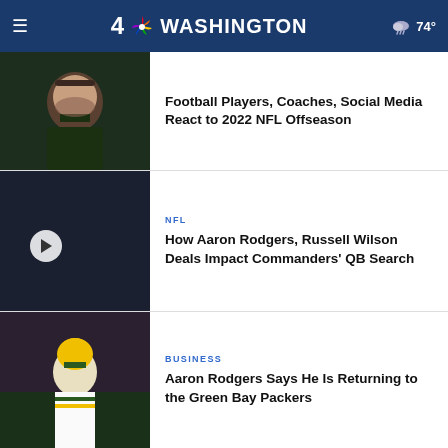4 NBC Washington, 74°
[Figure (photo): NFL quarterback (Aaron Rodgers) in green Packers uniform looking upward]
Football Players, Coaches, Social Media React to 2022 NFL Offseason
[Figure (photo): Two NFL quarterbacks side by side: Russell Wilson in blue Seahawks uniform and Aaron Rodgers in green Packers uniform; play button overlay]
NFL
How Aaron Rodgers, Russell Wilson Deals Impact Commanders' QB Search
[Figure (photo): Aaron Rodgers in Green Bay Packers uniform and yellow helmet, kicking or walking]
BUSINESS
Aaron Rodgers Says He Is Returning to the Green Bay Packers